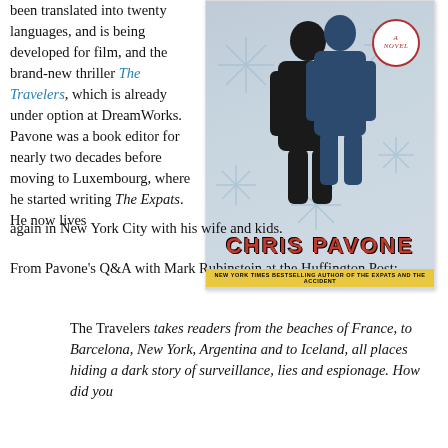been translated into twenty languages, and is being developed for film, and the brand-new thriller The Travelers, which is already under option at DreamWorks. Pavone was a book editor for nearly two decades before moving to Luxembourg, where he started writing The Expats. He now lives again in New York City with his wife and kids.
[Figure (illustration): Book cover of The Travelers by Chris Pavone, showing two silhouetted figures against a snowflake background, with red author name text and yellow subtitle band. Badge reads 'A Novel'.]
From Pavone's Q&A with Mark Rubinstein at the Huffington Post:
The Travelers takes readers from the beaches of France, to Barcelona, New York, Argentina and to Iceland, all places hiding a dark story of surveillance, lies and espionage. How did you